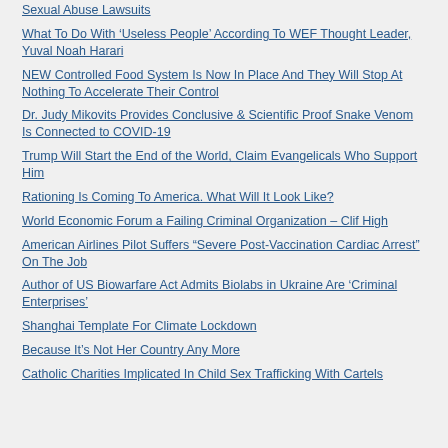Sexual Abuse Lawsuits
What To Do With ‘Useless People’ According To WEF Thought Leader, Yuval Noah Harari
NEW Controlled Food System Is Now In Place And They Will Stop At Nothing To Accelerate Their Control
Dr. Judy Mikovits Provides Conclusive & Scientific Proof Snake Venom Is Connected to COVID-19
Trump Will Start the End of the World, Claim Evangelicals Who Support Him
Rationing Is Coming To America. What Will It Look Like?
World Economic Forum a Failing Criminal Organization – Clif High
American Airlines Pilot Suffers “Severe Post-Vaccination Cardiac Arrest” On The Job
Author of US Biowarfare Act Admits Biolabs in Ukraine Are ‘Criminal Enterprises’
Shanghai Template For Climate Lockdown
Because It’s Not Her Country Any More
Catholic Charities Implicated In Child Sex Trafficking With Cartels